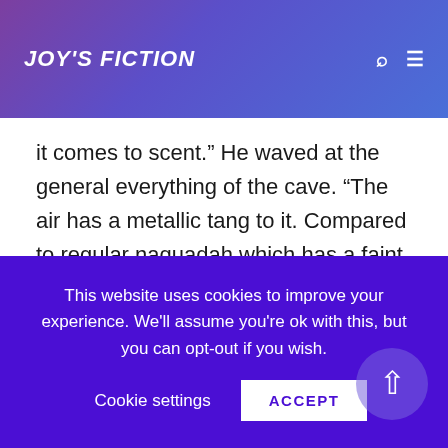JOY'S FICTION
it comes to scent.”  He waved at the general everything of the cave.  “The air has a metallic tang to it.  Compared to regular naquadah which has a faint metallic smell?  Mild versus sharp.  A cheese metaphor seemed appropriate.”
Jack bobbed his head to the side in acceptance of the point.  “Yeah.  Okay.  But why do you think it’s naquadah?  Couldn’t it just smell like the stuff?”
This website uses cookies to improve your experience. We'll assume you're ok with this, but you can opt-out if you wish.
Cookie settings
ACCEPT